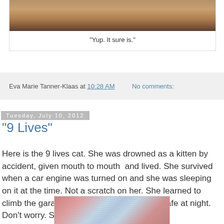[Figure (photo): Top portion of a photo showing a brown cardboard or wooden surface]
"Yup. It sure is."
Eva Marie Tanner-Klaas at 10:28 AM   No comments:
Tuesday, July 10, 2012
"9 Lives"
Here is the 9 lives cat. She was drowned as a kitten by accident, given mouth to mouth  and lived. She survived when a car engine was turned on and she was sleeping on it at the time. Not a scratch on her. She learned to climb the garage ladder to the attic to stay safe at night. Don't worry. She is an indoor cat.
Smart cat and very, very bossy.
[Figure (photo): Bottom portion of a photo showing what appears to be a cat with pink/red and blue coloring, possibly a decorative or artistic cat image]